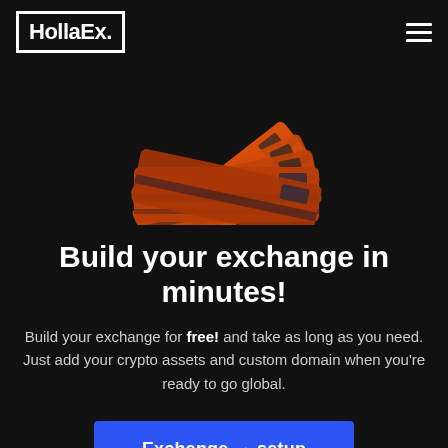HollaEx.
[Figure (illustration): 3D rendered image of orange and dark colored circuit board or exchange hardware, angled fan-like spread on dark background]
Build your exchange in minutes!
Build your exchange for free! and take as long as you need. Just add your crypto assets and custom domain when you're ready to go global.
Exchange → setup